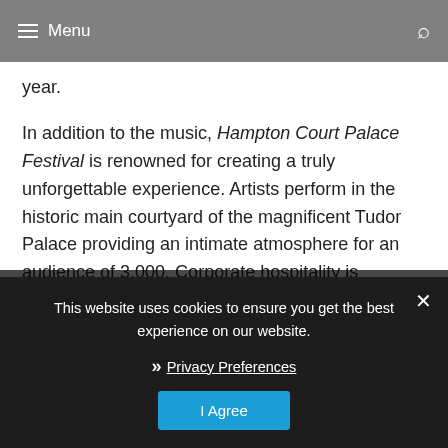≡ Menu
year.
In addition to the music, Hampton Court Palace Festival is renowned for creating a truly unforgettable experience. Artists perform in the historic main courtyard of the magnificent Tudor Palace providing an intimate atmosphere for an audience of 3,000. Corporate hospitality is available in the State Apartments and Festival-goers can also arrive early, entrance on foot only, and enjoy a delicious picnic courtesy of Jamie Oliver's Fabulous Feasts in the stunning Palace gardens.
This website uses cookies to ensure you get the best experience on our website.
Privacy Preferences
I Agree